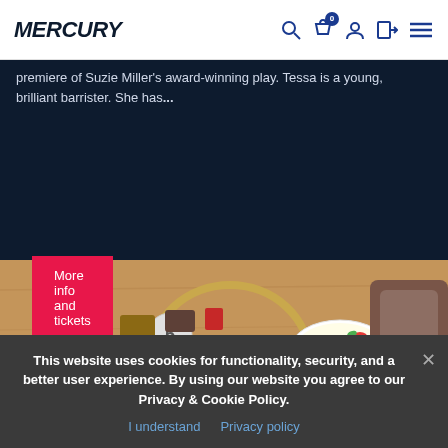MERCURY
premiere of Suzie Miller's award-winning play. Tessa is a young, brilliant barrister. She has...
More info and tickets
[Figure (photo): Photo of an afternoon tea spread on a wooden table, showing a tiered stand with pastries, scones and sandwiches, a white bowl of dessert with strawberries and mint, a small succulent plant, and a brown leather chair, with a gold circular holder and table number 5.]
This website uses cookies for functionality, security, and a better user experience. By using our website you agree to our Privacy & Cookie Policy.
I understand   Privacy policy